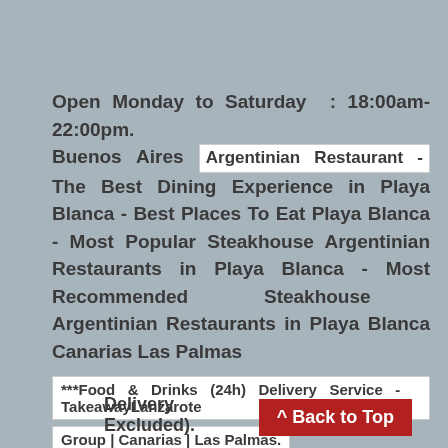Open Monday to Saturday : 18:00am-22:00pm. Buenos Aires Argentinian Restaurant - The Best Dining Experience in Playa Blanca - Best Places To Eat Playa Blanca - Most Popular Steakhouse Argentinian Restaurants in Playa Blanca - Most Recommended Steakhouse Argentinian Restaurants in Playa Blanca Canarias Las Palmas
***Food & Drinks (24h) Delivery Service - TakeawayLanzarote Group | Canarias | Las Palmas.
***Free Delivery for orders over 50€ (Tax and Delivery Excluded).